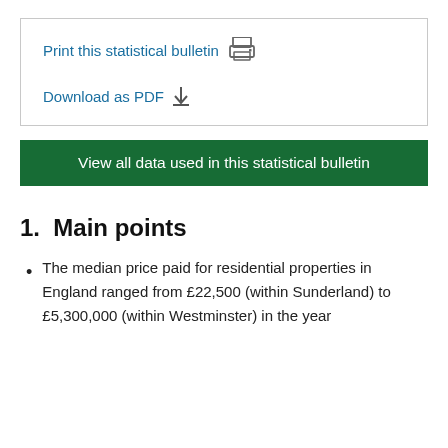Print this statistical bulletin [printer icon]
Download as PDF [download icon]
View all data used in this statistical bulletin
1.  Main points
The median price paid for residential properties in England ranged from £22,500 (within Sunderland) to £5,300,000 (within Westminster) in the year